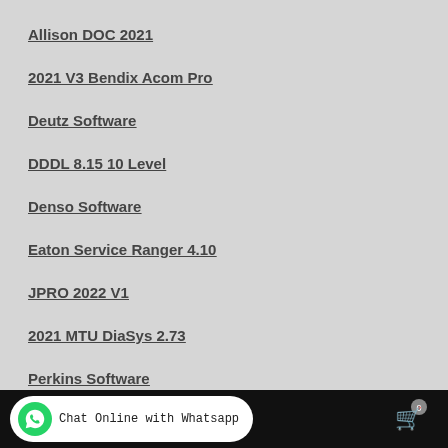Allison DOC 2021
2021 V3 Bendix Acom Pro
Deutz Software
DDDL 8.15 10 Level
Denso Software
Eaton Service Ranger 4.10
JPRO 2022 V1
2021 MTU DiaSys 2.73
Perkins Software
Volvo Software
Chat Online with Whatsapp